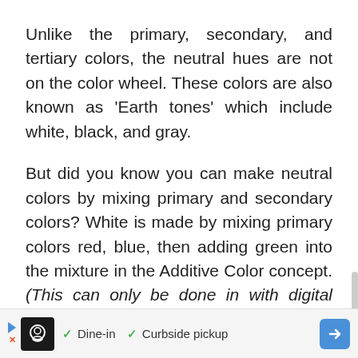Unlike the primary, secondary, and tertiary colors, the neutral hues are not on the color wheel. These colors are also known as 'Earth tones' which include white, black, and gray.
But did you know you can make neutral colors by mixing primary and secondary colors? White is made by mixing primary colors red, blue, then adding green into the mixture in the Additive Color concept. (This can only be done in with digital arts.) Technically, white color can also be added to other mixtures to make new hues like beige.
[Figure (other): Advertisement banner showing a restaurant icon with text 'Dine-in' and 'Curbside pickup' with navigation arrow icon]